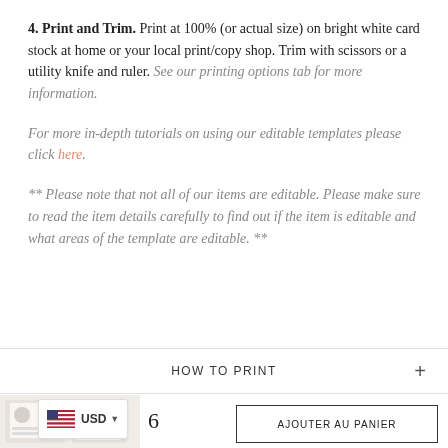4. Print and Trim. Print at 100% (or actual size) on bright white card stock at home or your local print/copy shop. Trim with scissors or a utility knife and ruler. See our printing options tab for more information.
For more in-depth tutorials on using our editable templates please click here.
** Please note that not all of our items are editable. Please make sure to read the item details carefully to find out if the item is editable and what areas of the template are editable. **
HOW TO PRINT
[Figure (photo): Small thumbnail image of product, light-colored stationery items]
...6
USD
AJOUTER AU PANIER